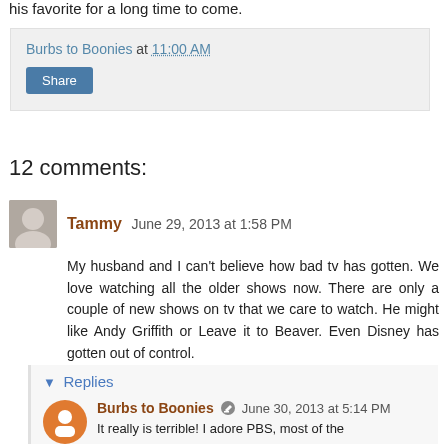his favorite for a long time to come.
Burbs to Boonies at 11:00 AM
Share
12 comments:
Tammy June 29, 2013 at 1:58 PM
My husband and I can't believe how bad tv has gotten. We love watching all the older shows now. There are only a couple of new shows on tv that we care to watch. He might like Andy Griffith or Leave it to Beaver. Even Disney has gotten out of control.
Reply
Replies
Burbs to Boonies June 30, 2013 at 5:14 PM
It really is terrible! I adore PBS, most of the